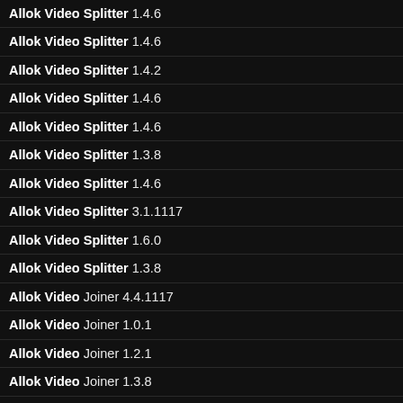Allok Video Splitter 1.4.6
Allok Video Splitter 1.4.6
Allok Video Splitter 1.4.2
Allok Video Splitter 1.4.6
Allok Video Splitter 1.4.6
Allok Video Splitter 1.3.8
Allok Video Splitter 1.4.6
Allok Video Splitter 3.1.1117
Allok Video Splitter 1.6.0
Allok Video Splitter 1.3.8
Allok Video Joiner 4.4.1117
Allok Video Joiner 1.0.1
Allok Video Joiner 1.2.1
Allok Video Joiner 1.3.8
Allok Video Joiner 1.6.2
Allok Video Joiner 1.3.8
Allok Video Joiner 1.4.2
Allok Video Joiner 1.6.0
Allok Video Joiner 1.4.2